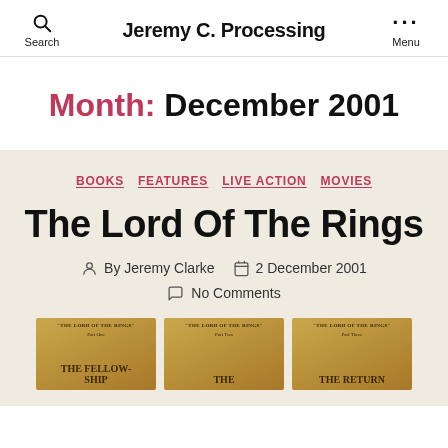Jeremy C. Processing
Month: December 2001
BOOKS
FEATURES
LIVE ACTION
MOVIES
The Lord Of The Rings
By Jeremy Clarke  2 December 2001  No Comments
[Figure (photo): Three Lord of the Rings book covers: The Fellowship of the Ring, The Two Towers, and The Return of the King]